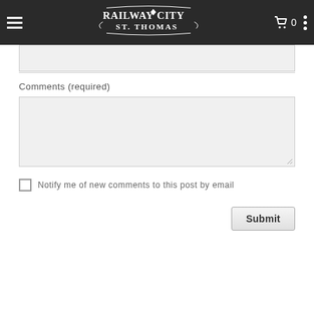[Figure (screenshot): Navigation bar with Railway City St. Thomas logo, hamburger menu icon on left, shopping cart with 0 count and vertical dots menu on right]
Comments (required)
Notify me of new comments to this post by email
Submit